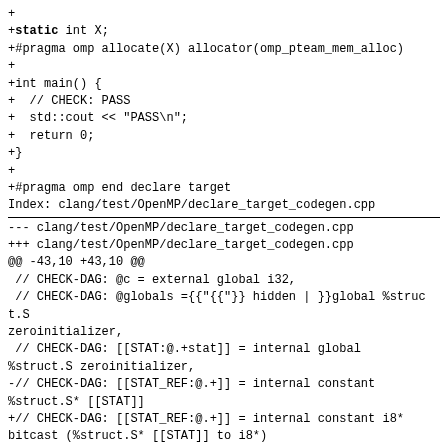+
+static int X;
+#pragma omp allocate(X) allocator(omp_pteam_mem_alloc)
+
+int main() {
+  // CHECK: PASS
+  std::cout << "PASS\n";
+  return 0;
+}
+
+#pragma omp end declare target
Index: clang/test/OpenMP/declare_target_codegen.cpp
========================================================
--- clang/test/OpenMP/declare_target_codegen.cpp
+++ clang/test/OpenMP/declare_target_codegen.cpp
@@ -43,10 +43,10 @@
 // CHECK-DAG: @c = external global i32,
 // CHECK-DAG: @globals ={{ hidden | }}global %struct.S zeroinitializer,
 // CHECK-DAG: [[STAT:@.+stat]] = internal global %struct.S zeroinitializer,
-// CHECK-DAG: [[STAT_REF:@.+]] = internal constant %struct.S* [[STAT]]
+// CHECK-DAG: [[STAT_REF:@.+]] = internal constant i8* bitcast (%struct.S* [[STAT]] to i8*)
 // CHECK-DAG: @out_decl_target ={{ hidden | }}global i32 0,
 // CHECK-DAG: @llvm.used = appending global [2 x i8*] [i8* bitcast (void ()*
@__omp_offloading__{{.+}}_globals_l[[@LINE+84]]_ctor to